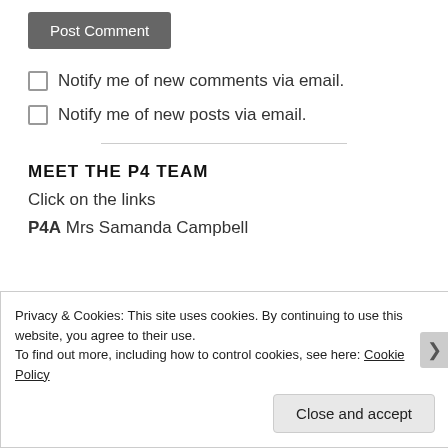Post Comment
Notify me of new comments via email.
Notify me of new posts via email.
MEET THE P4 TEAM
Click on the links
P4A Mrs Samanda Campbell
Privacy & Cookies: This site uses cookies. By continuing to use this website, you agree to their use. To find out more, including how to control cookies, see here: Cookie Policy
Close and accept